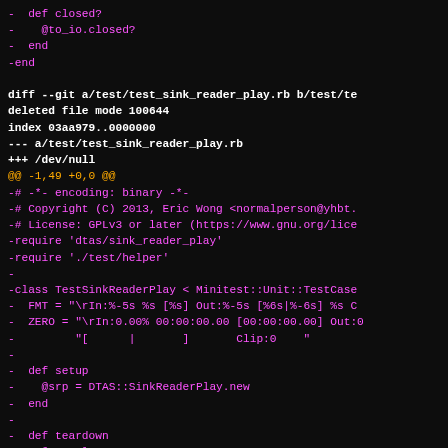code diff showing deletion of test/test_sink_reader_play.rb file with Ruby code